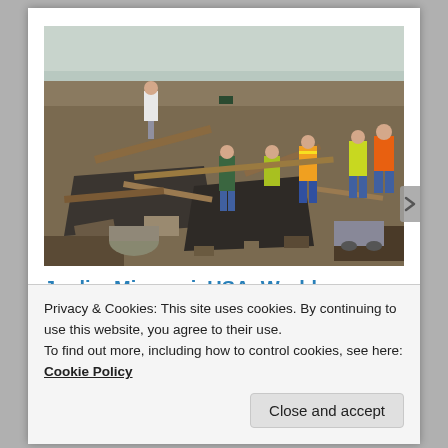[Figure (photo): Workers in safety vests clearing debris after a tornado disaster in Joplin, Missouri. Extensive destruction visible across a wide area with scattered lumber, rubble, and debris.]
Joplin, Missouri, USA, World
In "relief and development"
Privacy & Cookies: This site uses cookies. By continuing to use this website, you agree to their use.
To find out more, including how to control cookies, see here: Cookie Policy